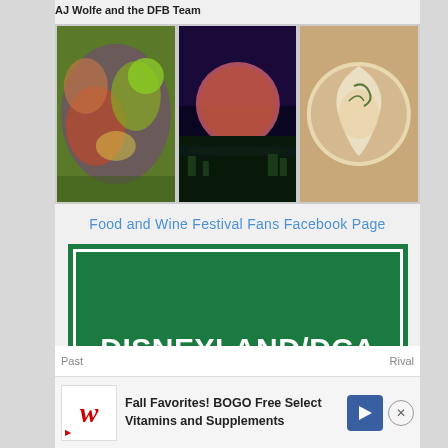AJ Wolfe and the DFB Team
[Figure (photo): Three food/travel photos in a row: a colorful slaw/veggie dish with lime, the Epcot Spaceship Earth globe at night with orange/purple sky, and a close-up of a dessert with cream and garnish]
Food and Wine Festival Fans Facebook Page
[Figure (illustration): Green banner/logo with white border and white bold text reading DISNEYLAND/DCA FOOD AND WINE FESTIVAL]
2022 Disney California Adventure Food & Wine Festival Details
Past
Rival
[Figure (screenshot): Walgreens advertisement banner: Fall Favorites! BOGO Free Select Vitamins and Supplements, with Walgreens W logo, navigation arrow icon, and close button]